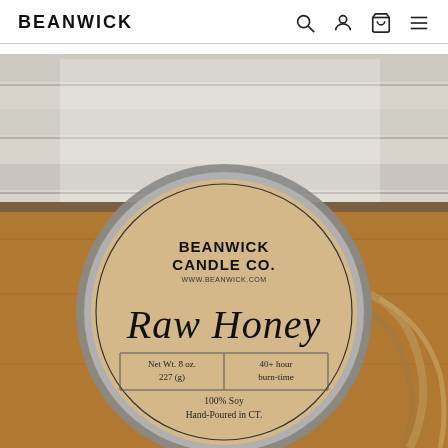BEANWICK
[Figure (photo): Top-down photo of a Beanwick Candle Co. tin candle with a kraft paper label reading 'Raw Honey', placed on a wooden surface. The label shows: BEANWICK CANDLE CO., www.beanwick.com, Raw Honey (in script), Net Wt. 8 oz. 227 (g), 40+ hour burn-time, 100% Soy Hand-Poured in CT. Twine is visible around the tin.]